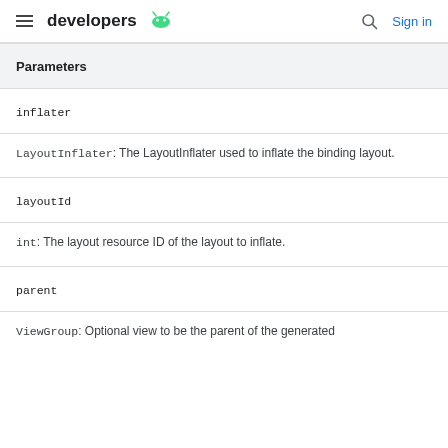developers [android icon] | [search] Sign in
Parameters
inflater
LayoutInflater: The LayoutInflater used to inflate the binding layout.
layoutId
int: The layout resource ID of the layout to inflate.
parent
ViewGroup: Optional view to be the parent of the generated